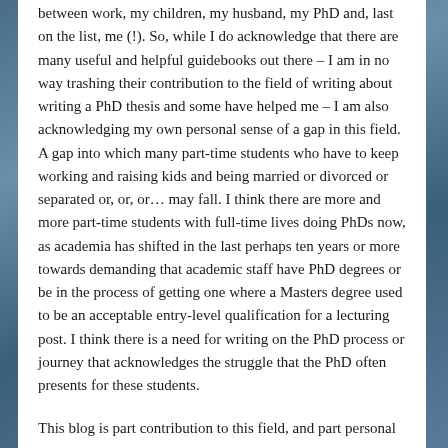between work, my children, my husband, my PhD and, last on the list, me (!). So, while I do acknowledge that there are many useful and helpful guidebooks out there – I am in no way trashing their contribution to the field of writing about writing a PhD thesis and some have helped me – I am also acknowledging my own personal sense of a gap in this field. A gap into which many part-time students who have to keep working and raising kids and being married or divorced or separated or, or, or… may fall. I think there are more and more part-time students with full-time lives doing PhDs now, as academia has shifted in the last perhaps ten years or more towards demanding that academic staff have PhD degrees or be in the process of getting one where a Masters degree used to be an acceptable entry-level qualification for a lecturing post. I think there is a need for writing on the PhD process or journey that acknowledges the struggle that the PhD often presents for these students.
This blog is part contribution to this field, and part personal